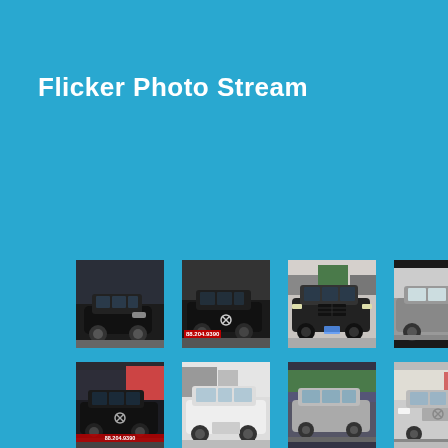Flicker Photo Stream
[Figure (photo): Grid of 12 car photos (Dodge minivans and SUVs) arranged in a 4x3 layout on a blue background. Row 1: black SUV at dealership with STOW sign, black minivan with phone number overlay, dark minivan front view outdoors, gray SUV side view. Row 2: black minivan at dealership with phone number, white SUV/crossover, silver minivan rear view, silver/beige minivan front. Row 3: silver minivan at White's dealership, close-up of silver car front grille, red minivan front view, white minivan front view.]